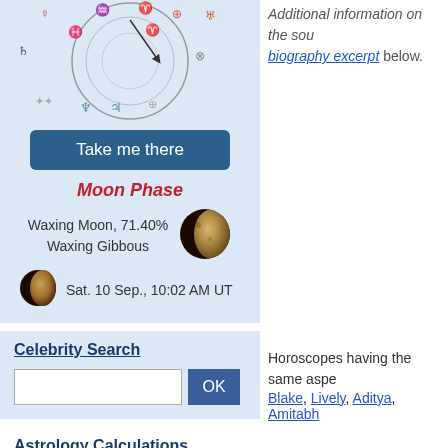[Figure (illustration): Astrological birth chart wheel with zodiac symbols and planetary glyphs on a light blue background]
[Figure (other): Button labeled Take me there with dark blue background]
Moon Phase
Waxing Moon, 71.40%
Waxing Gibbous
[Figure (photo): Waxing gibbous moon photograph]
Sat. 10 Sep., 10:02 AM UT
[Figure (photo): Small moon photograph]
Celebrity Search
[Figure (other): Search input box and OK button]
Astrology Calculations
Personalized Horoscope
Your Daily Horoscope
Personality
Horoscope and Ascendant
Additional information on the source: biography excerpt below.
Horoscopes having the same asp
Blake, Lively, Aditya, Amitabh